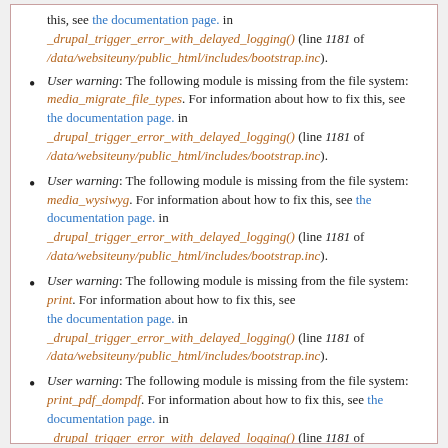this, see the documentation page. in _drupal_trigger_error_with_delayed_logging() (line 1181 of /data/websiteuny/public_html/includes/bootstrap.inc).
User warning: The following module is missing from the file system: media_migrate_file_types. For information about how to fix this, see the documentation page. in _drupal_trigger_error_with_delayed_logging() (line 1181 of /data/websiteuny/public_html/includes/bootstrap.inc).
User warning: The following module is missing from the file system: media_wysiwyg. For information about how to fix this, see the documentation page. in _drupal_trigger_error_with_delayed_logging() (line 1181 of /data/websiteuny/public_html/includes/bootstrap.inc).
User warning: The following module is missing from the file system: print. For information about how to fix this, see the documentation page. in _drupal_trigger_error_with_delayed_logging() (line 1181 of /data/websiteuny/public_html/includes/bootstrap.inc).
User warning: The following module is missing from the file system: print_pdf_dompdf. For information about how to fix this, see the documentation page. in _drupal_trigger_error_with_delayed_logging() (line 1181 of